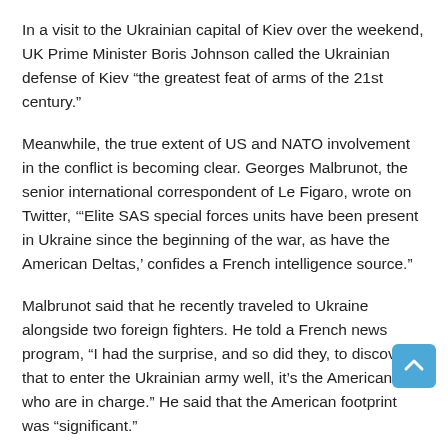In a visit to the Ukrainian capital of Kiev over the weekend, UK Prime Minister Boris Johnson called the Ukrainian defense of Kiev “the greatest feat of arms of the 21st century.”
Meanwhile, the true extent of US and NATO involvement in the conflict is becoming clear. Georges Malbrunot, the senior international correspondent of Le Figaro, wrote on Twitter, ‘“Elite SAS special forces units have been present in Ukraine since the beginning of the war, as have the American Deltas,’ confides a French intelligence source.”
Malbrunot said that he recently traveled to Ukraine alongside two foreign fighters. He told a French news program, “I had the surprise, and so did they, to discover that to enter the Ukrainian army well, it’s the Americans who are in charge.” He said that the American footprint was “significant.”
The massive buildup of NATO takes place as the war in Ukraine enters a new phase, and the NATO powers are seeking to rout Russian forces on the battlefield. “Another battle is coming, the battle for Donbas,’ Dmytro Kuleba, Ukraine’s foreign minister, said Sunday